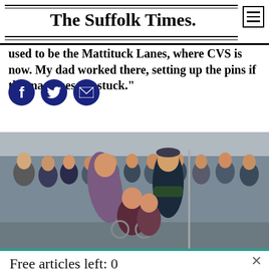The Suffolk Times
used to be the Mattituck Lanes, where CVS is now. My dad worked there, setting up the pins if the machines got stuck."
[Figure (photo): A bagpiper in formal uniform greets an elderly man in a wheelchair while a large crowd of people watches outdoors.]
Free articles left: 0
Subscribe to get unlimited access to Suffolk Times news and information.
Subscribe
Already have an account? Login here